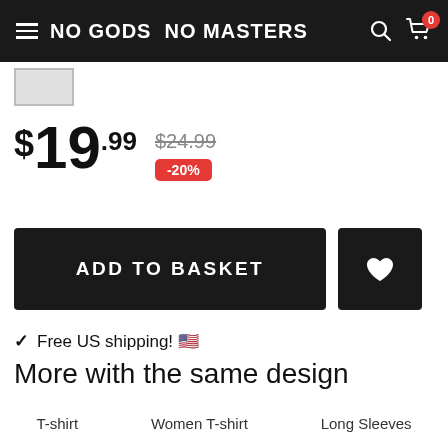NO GODS NO MASTERS
$19.99  $24.99  -20%
ADD TO BASKET
✓ Free US shipping! 🇺🇸
More with the same design
T-shirt
Women T-shirt
Long Sleeves